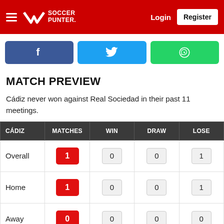Soccer Punter — Login | Register
[Figure (screenshot): Social share buttons: Facebook (blue), Twitter (cyan), WhatsApp (green)]
MATCH PREVIEW
Cádiz never won against Real Sociedad in their past 11 meetings.
| CÁDIZ | MATCHES | WIN | DRAW | LOSE |
| --- | --- | --- | --- | --- |
| Overall | 1 | 0 | 0 | 1 |
| Home | 1 | 0 | 0 | 1 |
| Away | 0 | 0 | 0 | 0 |